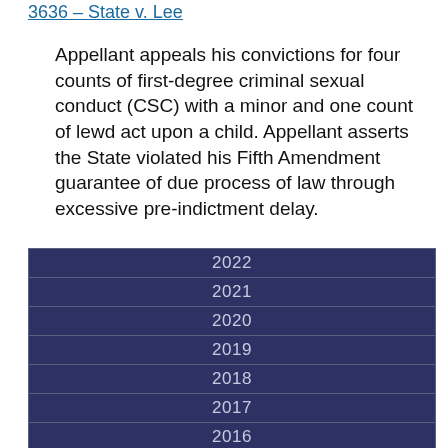3636 – State v. Lee
Appellant appeals his convictions for four counts of first-degree criminal sexual conduct (CSC) with a minor and one count of lewd act upon a child. Appellant asserts the State violated his Fifth Amendment guarantee of due process of law through excessive pre-indictment delay.
| 2022 |
| 2021 |
| 2020 |
| 2019 |
| 2018 |
| 2017 |
| 2016 |
| 2015 |
| 2014 |